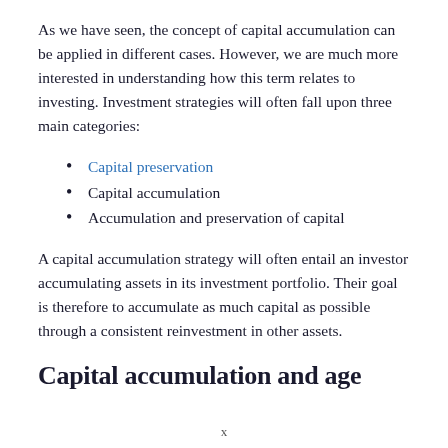As we have seen, the concept of capital accumulation can be applied in different cases. However, we are much more interested in understanding how this term relates to investing. Investment strategies will often fall upon three main categories:
Capital preservation
Capital accumulation
Accumulation and preservation of capital
A capital accumulation strategy will often entail an investor accumulating assets in its investment portfolio. Their goal is therefore to accumulate as much capital as possible through a consistent reinvestment in other assets.
Capital accumulation and age
x